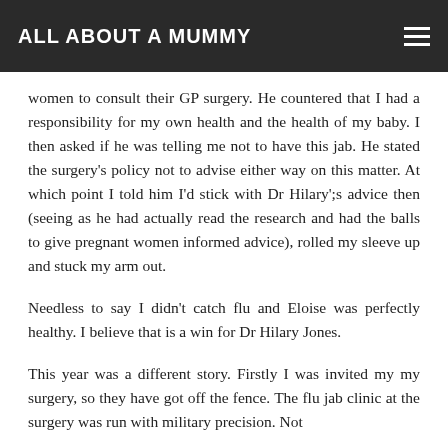ALL ABOUT A MUMMY
women to consult their GP surgery. He countered that I had a responsibility for my own health and the health of my baby. I then asked if he was telling me not to have this jab. He stated the surgery's policy not to advise either way on this matter. At which point I told him I'd stick with Dr Hilary';s advice then (seeing as he had actually read the research and had the balls to give pregnant women informed advice), rolled my sleeve up and stuck my arm out.
Needless to say I didn't catch flu and Eloise was perfectly healthy. I believe that is a win for Dr Hilary Jones.
This year was a different story. Firstly I was invited my my surgery, so they have got off the fence. The flu jab clinic at the surgery was run with military precision. Not